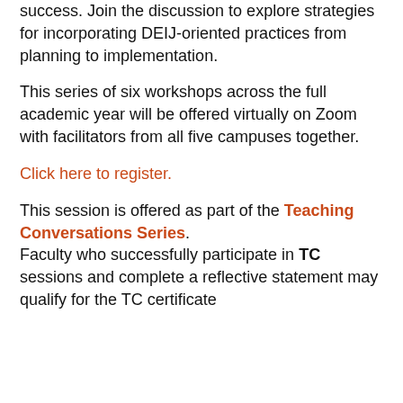success. Join the discussion to explore strategies for incorporating DEIJ-oriented practices from planning to implementation.
This series of six workshops across the full academic year will be offered virtually on Zoom with facilitators from all five campuses together.
Click here to register.
This session is offered as part of the Teaching Conversations Series. Faculty who successfully participate in TC sessions and complete a reflective statement may qualify for the TC certificate